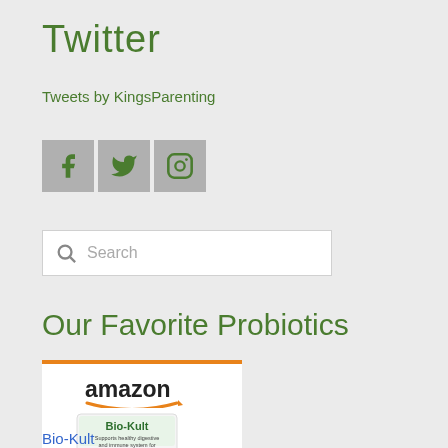Twitter
Tweets by KingsParenting
[Figure (other): Social media icons: Facebook, Twitter, Instagram]
[Figure (other): Search bar with magnifying glass icon and placeholder text 'Search']
Our Favorite Probiotics
[Figure (other): Amazon product card showing Bio-Kult probiotic supplement with orange star flower graphic]
Bio-Kult